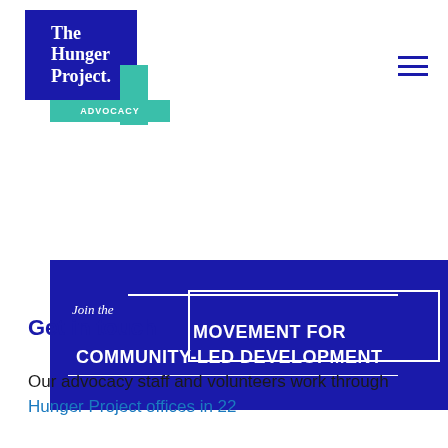[Figure (logo): The Hunger Project logo — dark blue square with white serif text 'The Hunger Project.' and a teal accent stripe, with teal 'ADVOCACY' label below]
[Figure (other): Navigation bar with 'Give now' button in dark blue and a hamburger menu icon]
[Figure (infographic): Dark blue banner with white text: 'Join the MOVEMENT FOR COMMUNITY-LED DEVELOPMENT' with decorative white rectangle outline and horizontal lines]
Get in touch
Our advocacy staff and volunteers work through Hunger Project offices in 22